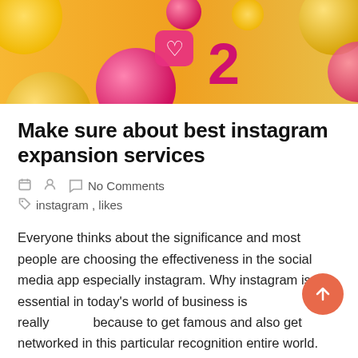[Figure (illustration): Colorful Instagram-themed decorative banner image with 3D emoji-style icons on an orange/yellow gradient background, showing hearts, like icons, and the number 2]
Make sure about best instagram expansion services
No Comments
instagram , likes
Everyone thinks about the significance and most people are choosing the effectiveness in the social media app especially instagram. Why instagram is essential in today's world of business is really because to get famous and also get networked in this particular recognition entire world. Know it's relevance which can be easily attainable in the instagram...